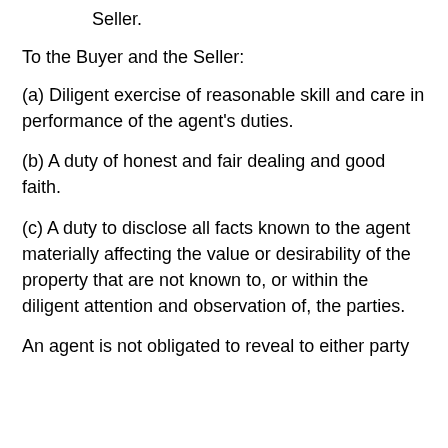Seller.
To the Buyer and the Seller:
(a) Diligent exercise of reasonable skill and care in performance of the agent's duties.
(b) A duty of honest and fair dealing and good faith.
(c) A duty to disclose all facts known to the agent materially affecting the value or desirability of the property that are not known to, or within the diligent attention and observation of, the parties.
An agent is not obligated to reveal to either party